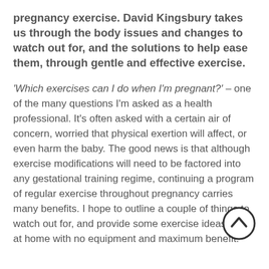pregnancy exercise. David Kingsbury takes us through the body issues and changes to watch out for, and the solutions to help ease them, through gentle and effective exercise.
'Which exercises can I do when I'm pregnant?' – one of the many questions I'm asked as a health professional. It's often asked with a certain air of concern, worried that physical exertion will affect, or even harm the baby. The good news is that although exercise modifications will need to be factored into any gestational training regime, continuing a program of regular exercise throughout pregnancy carries many benefits. I hope to outline a couple of things to watch out for, and provide some exercise ideas to try at home with no equipment and maximum benefit.